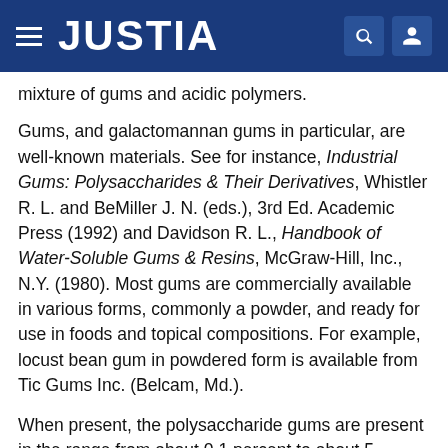JUSTIA
mixture of gums and acidic polymers.
Gums, and galactomannan gums in particular, are well-known materials. See for instance, Industrial Gums: Polysaccharides & Their Derivatives, Whistler R. L. and BeMiller J. N. (eds.), 3rd Ed. Academic Press (1992) and Davidson R. L., Handbook of Water-Soluble Gums & Resins, McGraw-Hill, Inc., N.Y. (1980). Most gums are commercially available in various forms, commonly a powder, and ready for use in foods and topical compositions. For example, locust bean gum in powdered form is available from Tic Gums Inc. (Belcam, Md.).
When present, the polysaccharide gums are present in the range from about 0.1 percent to about 5 percent, based on the total weight of the composition, with the preferred range being from 0.5 percent to 3 percent. In